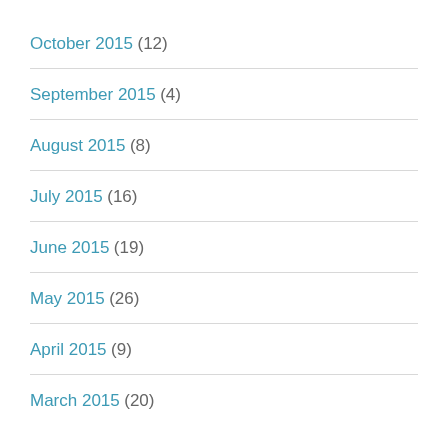October 2015 (12)
September 2015 (4)
August 2015 (8)
July 2015 (16)
June 2015 (19)
May 2015 (26)
April 2015 (9)
March 2015 (20)